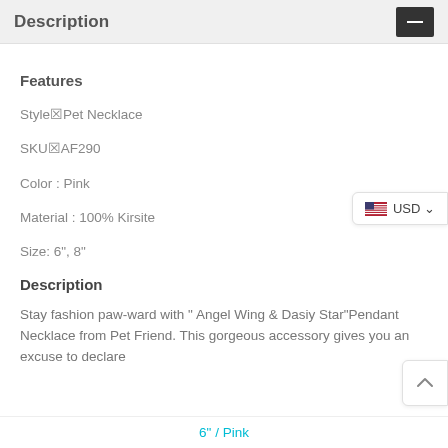Description
Features
Style☒Pet Necklace
SKU☒AF290
Color : Pink
Material : 100% Kirsite
Size: 6", 8"
Description
Stay fashion paw-ward with " Angel Wing & Dasiy Star"Pendant Necklace from Pet Friend. This gorgeous accessory gives you an excuse to declare
6" / Pink